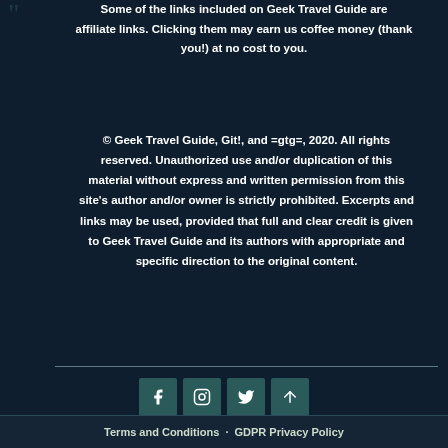Some of the links included on Geek Travel Guide are affiliate links. Clicking them may earn us coffee money (thank you!) at no cost to you.
© Geek Travel Guide, Git!, and =gtg=, 2020. All rights reserved. Unauthorized use and/or duplication of this material without express and written permission from this site's author and/or owner is strictly prohibited. Excerpts and links may be used, provided that full and clear credit is given to Geek Travel Guide and its authors with appropriate and specific direction to the original content.
[Figure (infographic): Social media icons: Facebook, Instagram, Twitter, and scroll-to-top arrow button]
Terms and Conditions · GDPR Privacy Policy